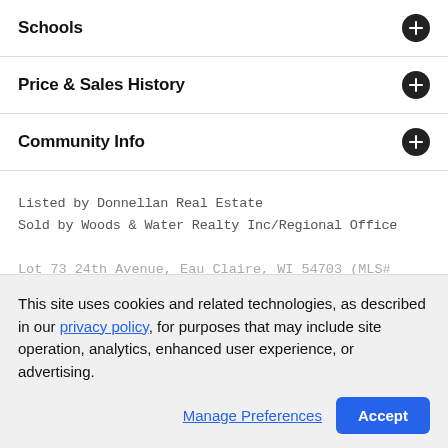Schools
Price & Sales History
Community Info
Listed by Donnellan Real Estate
Sold by Woods & Water Realty Inc/Regional Office
Lot 73 24th Avenue, Eau Claire, WI 54703 (MLS# 810326) is a Lots/Land property that was sold at $49,000 on August 24, 2022
This site uses cookies and related technologies, as described in our privacy policy, for purposes that may include site operation, analytics, enhanced user experience, or advertising.
Manage Preferences
Accept